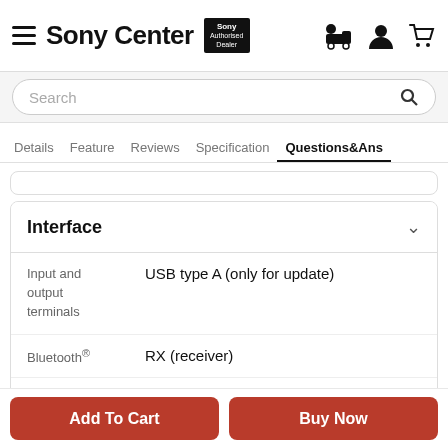Sony Center — Sony Authorized Dealer
Search
Details | Feature | Reviews | Specification | Questions&Ans
Interface
| Property | Value |
| --- | --- |
| Input and output terminals | USB type A (only for update) |
| Bluetooth® | RX (receiver) |
| Bluetooth® version | 5.0 |
Add To Cart
Buy Now